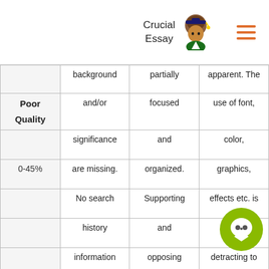Crucial Essay
| Grade | Research | Content/Summary | Presentation |
| --- | --- | --- | --- |
| Poor Quality
0-45% | background and/or significance are missing. No search history information is provided. | partially focused and organized. Supporting and opposing research are not included in the summary of information | apparent. The use of font, color, graphics, effects etc. is often detracting to the presentation content. Length requirements may not be |